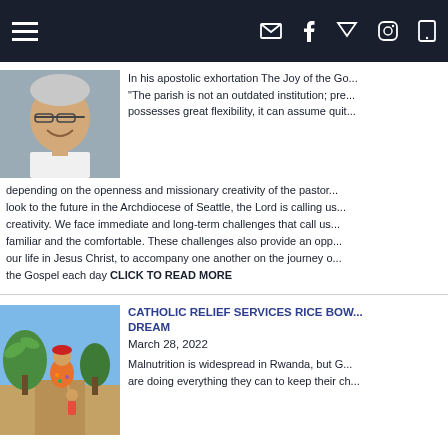Navigation bar with hamburger menu and icons: email, facebook, vimeo, instagram, phone
[Figure (photo): Smiling man with glasses, close-up portrait]
In his apostolic exhortation The Joy of the Go... "The parish is not an outdated institution; pre... possesses great flexibility, it can assume quit... depending on the openness and missionary creativity of the pastor... look to the future in the Archdiocese of Seattle, the Lord is calling us... creativity. We face immediate and long-term challenges that call us... familiar and the comfortable. These challenges also provide an opp... our life in Jesus Christ, to accompany one another on the journey o... the Gospel each day CLICK TO READ MORE
[Figure (photo): Woman in colorful dress holding hands with a child on a dirt path with green plants in background, Rwanda]
CATHOLIC RELIEF SERVICES RICE BOW... DREAM
March 28, 2022
Malnutrition is widespread in Rwanda, but G... are doing everything they can to keep their ch...